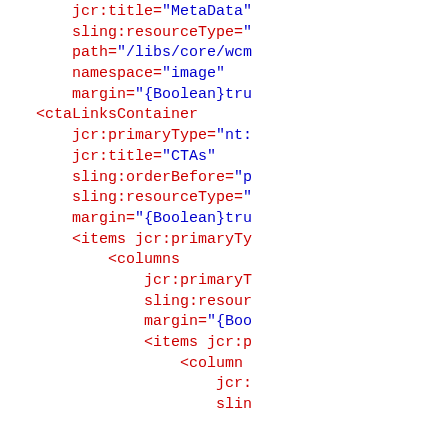XML/JCR code snippet showing ctaLinksContainer and nested items/columns structure with jcr and sling attributes